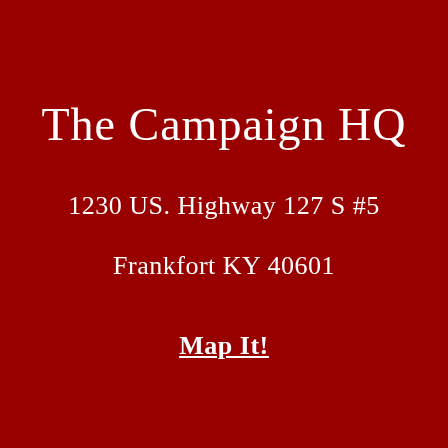The Campaign HQ
1230 US. Highway 127 S #5
Frankfort KY 40601
Map It!